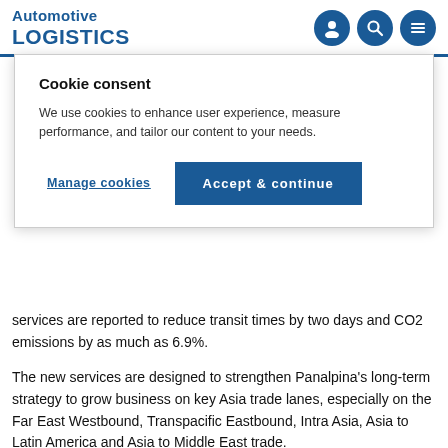Automotive LOGISTICS
Cookie consent
We use cookies to enhance user experience, measure performance, and tailor our content to your needs.
Manage cookies   Accept & continue
services are reported to reduce transit times by two days and CO2 emissions by as much as 6.9%.
The new services are designed to strengthen Panalpina's long-term strategy to grow business on key Asia trade lanes, especially on the Far East Westbound, Transpacific Eastbound, Intra Asia, Asia to Latin America and Asia to Middle East trade.
Carsten Meyer, global head of ocean freight, LCL, said: "With these two new services to Wroclaw we are enhancing our existing product portfolio for the Polish market and add